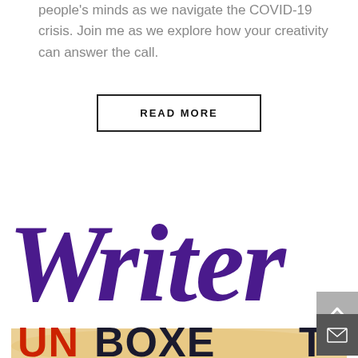people's minds as we navigate the COVID-19 crisis. Join me as we explore how your creativity can answer the call.
READ MORE
[Figure (logo): Writer Unboxed logo — large cursive purple 'Writer' text above 'UNBOXED' in red and dark letters on a tan/beige box illustration]